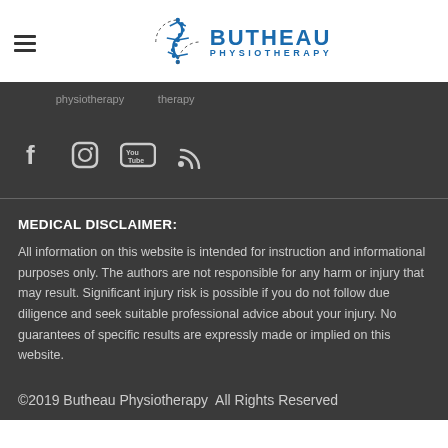[Figure (logo): Butheau Physiotherapy logo with spine icon and blue text]
(partial navigation text visible)
[Figure (infographic): Social media icons: Facebook, Instagram, YouTube, RSS feed]
MEDICAL DISCLAIMER:
All information on this website is intended for instruction and informational purposes only. The authors are not responsible for any harm or injury that may result. Significant injury risk is possible if you do not follow due diligence and seek suitable professional advice about your injury. No guarantees of specific results are expressly made or implied on this website.
©2019 Butheau Physiotherapy  All Rights Reserved